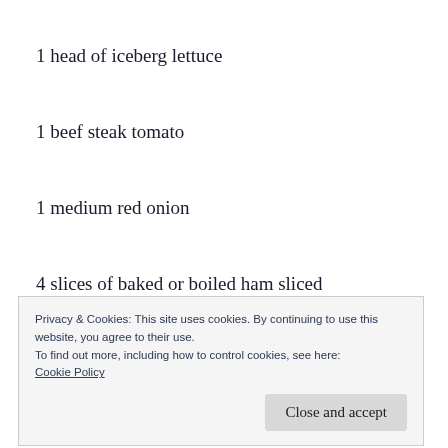1 head of iceberg lettuce
1 beef steak tomato
1 medium red onion
4 slices of baked or boiled ham sliced
4 slice of Swiss cheese sliced
Privacy & Cookies: This site uses cookies. By continuing to use this website, you agree to their use.
To find out more, including how to control cookies, see here:
Cookie Policy
Close and accept
2 tbls Extra virgin Olive oil